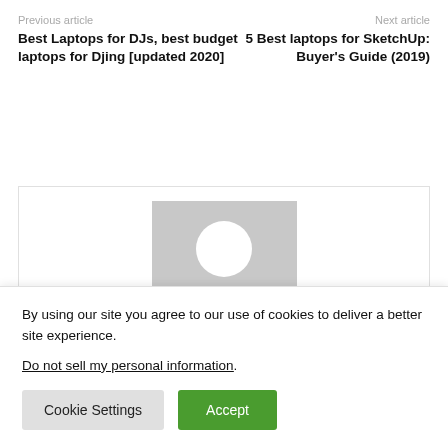Previous article
Best Laptops for DJs, best budget laptops for Djing [updated 2020]
Next article
5 Best laptops for SketchUp: Buyer's Guide (2019)
[Figure (illustration): Generic user avatar placeholder image with grey background showing a white silhouette of a person]
By using our site you agree to our use of cookies to deliver a better site experience.
Do not sell my personal information.
Cookie Settings
Accept